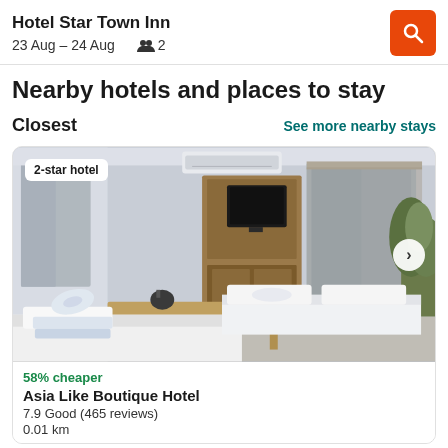Hotel Star Town Inn
23 Aug – 24 Aug  👥 2
Nearby hotels and places to stay
Closest
See more nearby stays
[Figure (photo): Hotel room interior showing two single beds with white linens and rolled towels, a wall-mounted air conditioner, wooden wardrobe with TV, a desk, and a plant near a window with roller blinds. Badge reads '2-star hotel'.]
58% cheaper
Asia Like Boutique Hotel
7.9 Good (465 reviews)
0.01 km